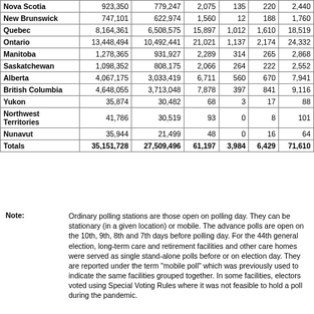| Province/Territory | Total Electors | Electors on List | Ordinary Polls | Advance Polls | Mobile Polls | Total Polls |
| --- | --- | --- | --- | --- | --- | --- |
| Nova Scotia | 923,350 | 779,247 | 2,075 | 135 | 220 | 2,440 |
| New Brunswick | 747,101 | 622,974 | 1,560 | 12 | 188 | 1,760 |
| Quebec | 8,164,361 | 6,508,575 | 15,897 | 1,012 | 1,610 | 18,519 |
| Ontario | 13,448,494 | 10,492,441 | 21,021 | 1,137 | 2,174 | 24,332 |
| Manitoba | 1,278,365 | 931,927 | 2,289 | 314 | 265 | 2,868 |
| Saskatchewan | 1,098,352 | 808,175 | 2,066 | 264 | 222 | 2,552 |
| Alberta | 4,067,175 | 3,033,419 | 6,711 | 560 | 670 | 7,941 |
| British Columbia | 4,648,055 | 3,713,048 | 7,878 | 397 | 841 | 9,116 |
| Yukon | 35,874 | 30,482 | 68 | 3 | 17 | 88 |
| Northwest Territories | 41,786 | 30,519 | 93 | 0 | 8 | 101 |
| Nunavut | 35,944 | 21,499 | 48 | 0 | 16 | 64 |
| Totals | 35,151,728 | 27,509,496 | 61,197 | 3,984 | 6,429 | 71,610 |
Note: Ordinary polling stations are those open on polling day. They can be stationary (in a given location) or mobile. The advance polls are open on the 10th, 9th, 8th and 7th days before polling day. For the 44th general election, long-term care and retirement facilities and other care homes were served as single stand-alone polls before or on election day. They are reported under the term "mobile poll" which was previously used to indicate the same facilities grouped together. In some facilities, electors voted using Special Voting Rules where it was not feasible to hold a poll during the pandemic.